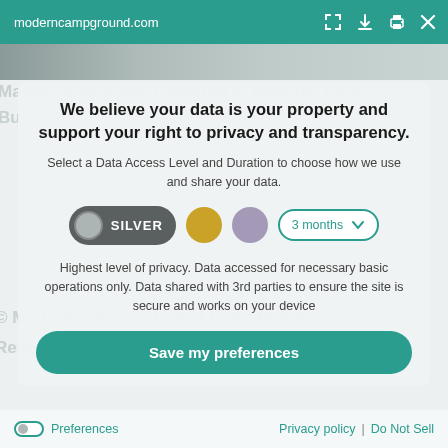moderncampground.com
[Figure (screenshot): Photo strip of a person in uniform, partially visible at top]
We believe your data is your property and support your right to privacy and transparency.
Select a Data Access Level and Duration to choose how we use and share your data.
[Figure (infographic): Privacy level selector with SILVER toggle active, gold circle, purple circle, and 3 months dropdown]
Highest level of privacy. Data accessed for necessary basic operations only. Data shared with 3rd parties to ensure the site is secure and works on your device
[Figure (other): Save my preferences button]
Preferences   Privacy policy | Do Not Sell